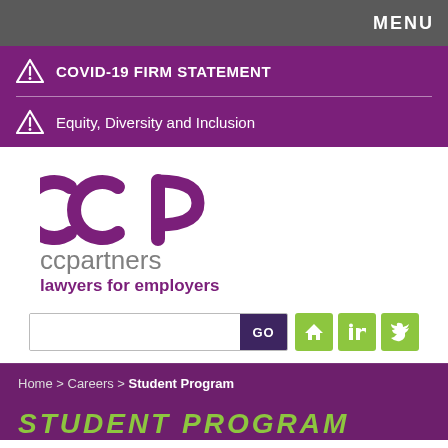MENU
COVID-19 FIRM STATEMENT
Equity, Diversity and Inclusion
[Figure (logo): CCPartners logo — stylized 'CCP' in purple with text 'ccpartners' in grey and 'lawyers for employers' in purple below]
GO
Home > Careers > Student Program
STUDENT PROGRAM